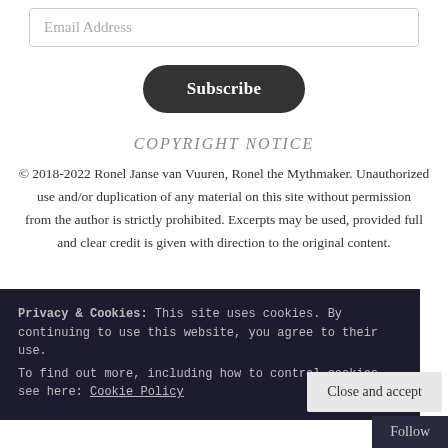Email Address
Subscribe
COPYRIGHT NOTICE
© 2018-2022 Ronel Janse van Vuuren, Ronel the Mythmaker. Unauthorized use and/or duplication of any material on this site without permission from the author is strictly prohibited. Excerpts may be used, provided full and clear credit is given with direction to the original content.
Privacy & Cookies: This site uses cookies. By continuing to use this website, you agree to their use.
To find out more, including how to control cookies, see here: Cookie Policy
Close and accept
Follow